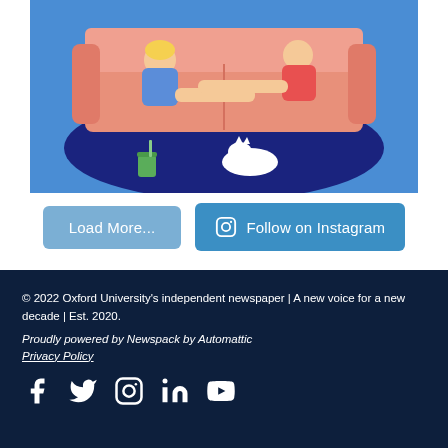[Figure (illustration): Colorful illustration showing two people lying on a pink couch on a blue oval rug, with a white cat sleeping on the rug and a green drink cup nearby, against a bright blue background]
Load More...
Follow on Instagram
© 2022 Oxford University's independent newspaper | A new voice for a new decade | Est. 2020.
Proudly powered by Newspack by Automattic
Privacy Policy